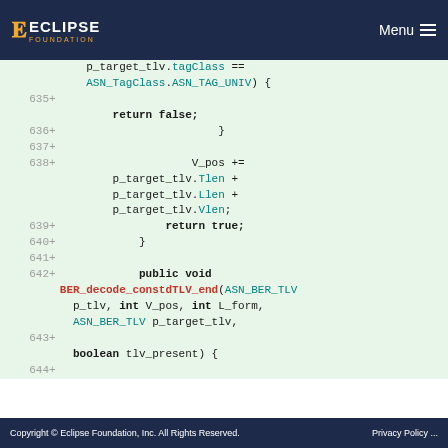ECLIPSE FOUNDATION — Menu
[Figure (screenshot): Code diff view showing Java/C++ source lines 635-644 with line numbers and + markers on green background. Code includes return false, V_pos += p_target_tlv.Tlen + p_target_tlv.Llen + p_target_tlv.Vlen, return true, closing braces, and method signature for BER_decode_constdTLV_end.]
Copyright © Eclipse Foundation, Inc. All Rights Reserved.    Privacy Policy ...